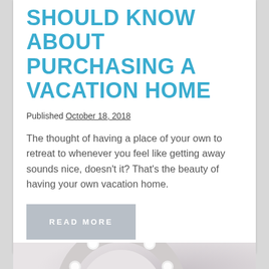SHOULD KNOW ABOUT PURCHASING A VACATION HOME
Published October 18, 2018
The thought of having a place of your own to retreat to whenever you feel like getting away sounds nice, doesn't it? That's the beauty of having your own vacation home.
READ MORE
[Figure (photo): Illuminated marquee number or letter sign with glowing light bulbs on a gray/mauve gradient background]